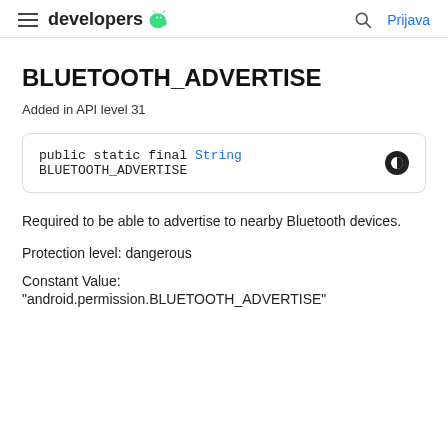developers  Prijava
BLUETOOTH_ADVERTISE
Added in API level 31
public static final String BLUETOOTH_ADVERTISE
Required to be able to advertise to nearby Bluetooth devices.
Protection level: dangerous
Constant Value:
"android.permission.BLUETOOTH_ADVERTISE"